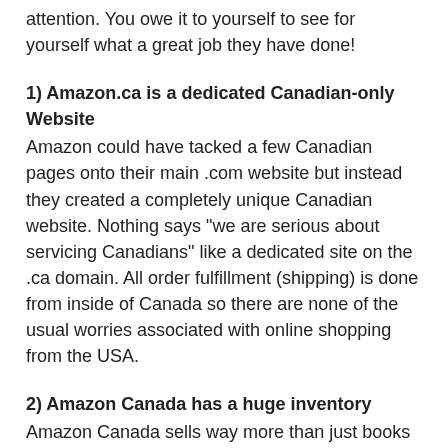attention. You owe it to yourself to see for yourself what a great job they have done!
1) Amazon.ca is a dedicated Canadian-only Website
Amazon could have tacked a few Canadian pages onto their main .com website but instead they created a completely unique Canadian website. Nothing says "we are serious about servicing Canadians" like a dedicated site on the .ca domain. All order fulfillment (shipping) is done from inside of Canada so there are none of the usual worries associated with online shopping from the USA.
2) Amazon Canada has a huge inventory
Amazon Canada sells way more than just books now! They now offer a product range that spans twenty different merchandise categories. Plus, the Canadian inventory is growing everyday as both Amazon and partners in Amazon.ca